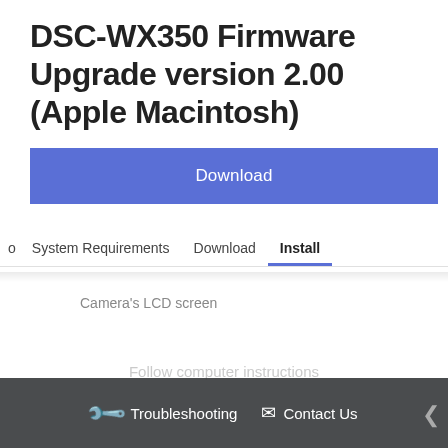DSC-WX350 Firmware Upgrade version 2.00 (Apple Macintosh)
Download
o   System Requirements   Download   Install
Camera's LCD screen
[Figure (screenshot): Camera LCD screen showing black display with follow computer instructions text]
Troubleshooting   Contact Us